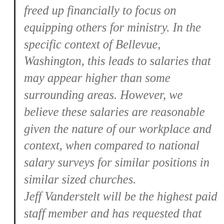freed up financially to focus on equipping others for ministry. In the specific context of Bellevue, Washington, this leads to salaries that may appear higher than some surrounding areas. However, we believe these salaries are reasonable given the nature of our workplace and context, when compared to national salary surveys for similar positions in similar sized churches. Jeff Vanderstelt will be the highest paid staff member and has requested that his annual salary of $125,000 be made public as we launch the church. Specific salary ranges for other